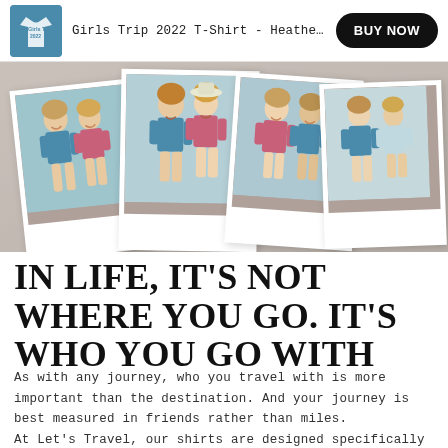Girls Trip 2022 T-Shirt - Heather Deep... | BUY NOW
[Figure (photo): Collage of polaroid-style photos showing two young women wearing Girls Trip 2022 t-shirts in blue and pink, posing happily outdoors.]
IN LIFE, IT'S NOT WHERE YOU GO. IT'S WHO YOU GO WITH
As with any journey, who you travel with is more important than the destination. And your journey is best measured in friends rather than miles.
At Let's Travel, our shirts are designed specifically to